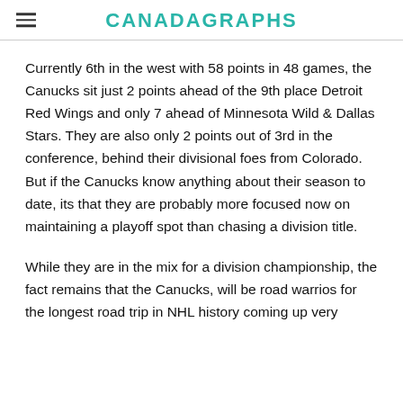CANADAGRAPHS
Currently 6th in the west with 58 points in 48 games, the Canucks sit just 2 points ahead of the 9th place Detroit Red Wings and only 7 ahead of Minnesota Wild & Dallas Stars. They are also only 2 points out of 3rd in the conference, behind their divisional foes from Colorado. But if the Canucks know anything about their season to date, its that they are probably more focused now on maintaining a playoff spot than chasing a division title.
While they are in the mix for a division championship, the fact remains that the Canucks, will be road warrios for the longest road trip in NHL history coming up very